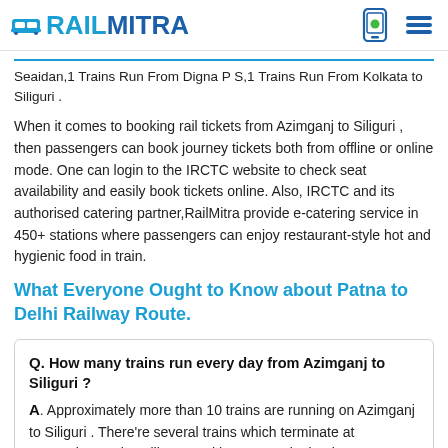RAILMITRA
Seaidan,1 Trains Run From Digna P S,1 Trains Run From Kolkata to Siliguri .
When it comes to booking rail tickets from Azimganj to Siliguri , then passengers can book journey tickets both from offline or online mode. One can login to the IRCTC website to check seat availability and easily book tickets online. Also, IRCTC and its authorised catering partner,RailMitra provide e-catering service in 450+ stations where passengers can enjoy restaurant-style hot and hygienic food in train.
What Everyone Ought to Know about Patna to Delhi Railway Route.
Q. How many trains run every day from Azimganj to Siliguri ?
A. Approximately more than 10 trains are running on Azimganj to Siliguri . There're several trains which terminate at supporting stations like Kamakhya,new Jalpaiguri,new